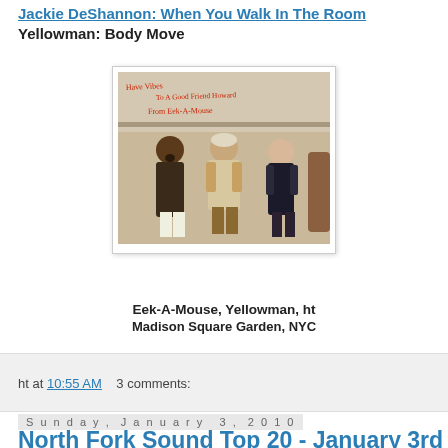Jackie DeShannon: When You Walk In The Room
Yellowman: Body Move
[Figure (photo): Black and white/sepia photo of three people standing together: Eek-A-Mouse, Yellowman, and ht, at Madison Square Garden, NYC. Writing on the wall behind them reads 'Have Vibes To A Good Friend Howard From Eek-A-Mouse']
Eek-A-Mouse, Yellowman, ht
Madison Square Garden, NYC
ht at 10:55 AM    3 comments:
Sunday, January 3, 2010
North Fork Sound Top 20 - January 3rd